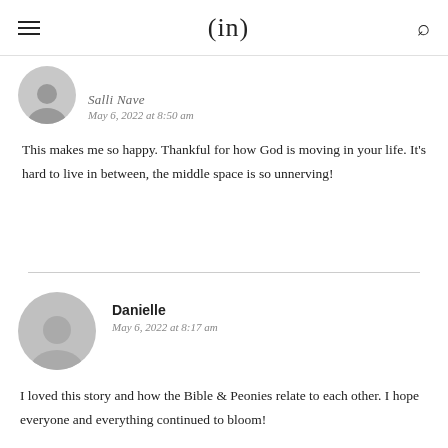(in)
[Figure (photo): Partial user avatar (small, gray circle with silhouette) for first commenter]
Salli Nave
May 6, 2022 at 8:50 am
This makes me so happy. Thankful for how God is moving in your life. It's hard to live in between, the middle space is so unnerving!
[Figure (photo): User avatar (large, gray circle with silhouette) for Danielle]
Danielle
May 6, 2022 at 8:17 am
I loved this story and how the Bible & Peonies relate to each other. I hope everyone and everything continued to bloom!